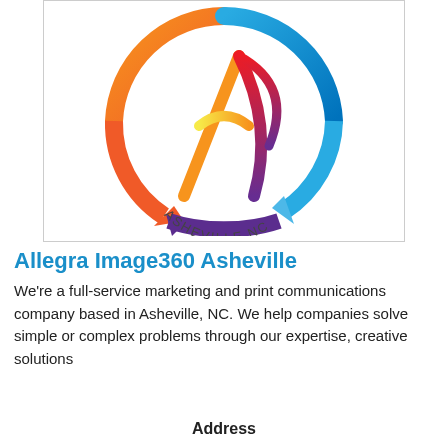[Figure (logo): Allegra Image360 Asheville logo: circular arrows in orange, blue, and purple forming a ring with a stylized letter A in red/gradient at center, text 'ASHEVILLE NC' along bottom arc in purple]
Allegra Image360 Asheville
We're a full-service marketing and print communications company based in Asheville, NC. We help companies solve simple or complex problems through our expertise, creative solutions
Address